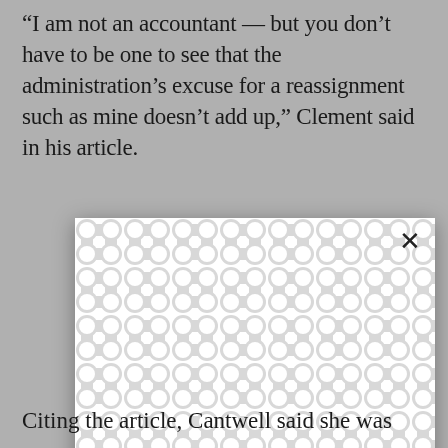“I am not an accountant — but you don’t have to be one to see that the administration’s excuse for a reassignment such as mine doesn’t add up,” Clement said in his article.
[Figure (screenshot): A modal/popup overlay with a decorative repeating pattern of connected circles/ovals in white and light gray, with an X close button in the top right. The bottom portion shows a partial photograph of what appears to be shoes or feet on carpet, with blue fabric and a red circular logo visible.]
Citing the article, Cantwell said she was